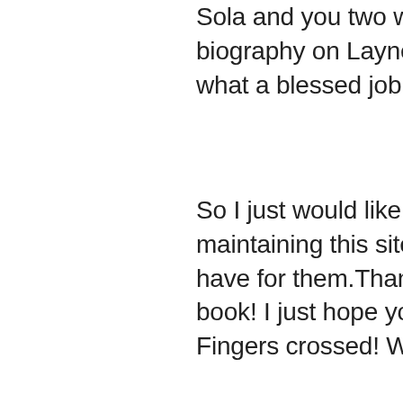Sola and you two write the most prob biography on Layne. What a riddle o what a blessed job that would be.
So I just would like to thank you for y maintaining this site. What an incred have for them.Thank you. And please book! I just hope you can get everyon Fingers crossed! Wish you all the luck
ps: In the book there's this girl Michel view did Layne wrong, I think she wo with him about her intentions so he e thinking they were an item. If I was L think that too. And he discovered the very humiliating way. I think he wan that girl to escape Demri and the dru probably didn't see how important sh in that period. Do you know this girl,